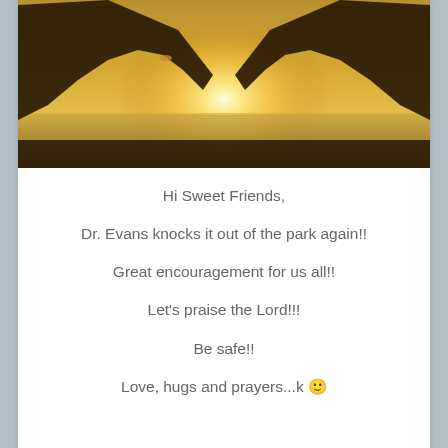[Figure (photo): Silhouette of two hands forming a heart shape against a bright golden sunset over water]
Hi Sweet Friends,
Dr. Evans knocks it out of the park again!!
Great encouragement for us all!!
Let's praise the Lord!!!
Be safe!!
Love, hugs and prayers...k 🙂